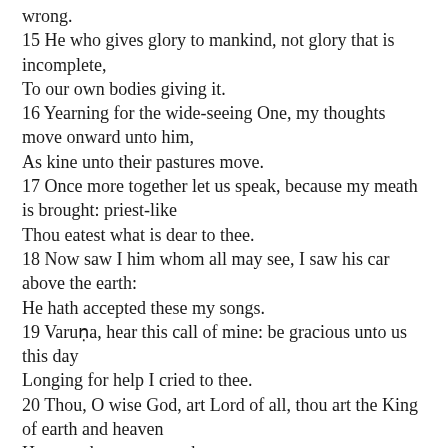wrong.
15 He who gives glory to mankind, not glory that is incomplete,
To our own bodies giving it.
16 Yearning for the wide-seeing One, my thoughts move onward unto him,
As kine unto their pastures move.
17 Once more together let us speak, because my meath is brought: priest-like
Thou eatest what is dear to thee.
18 Now saw I him whom all may see, I saw his car above the earth:
He hath accepted these my songs.
19 Varuṇa, hear this call of mine: be gracious unto us this day
Longing for help I cried to thee.
20 Thou, O wise God, art Lord of all, thou art the King of earth and heaven
Hear, as thou goest on thy way.
21 Release us from the upper bond, untie the bond between, and loose
The bonds below, that I may live.
Next: HYMN XXVI. Agni.